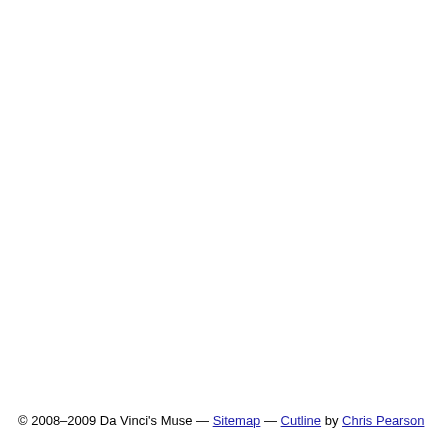© 2008–2009 Da Vinci's Muse — Sitemap — Cutline by Chris Pearson